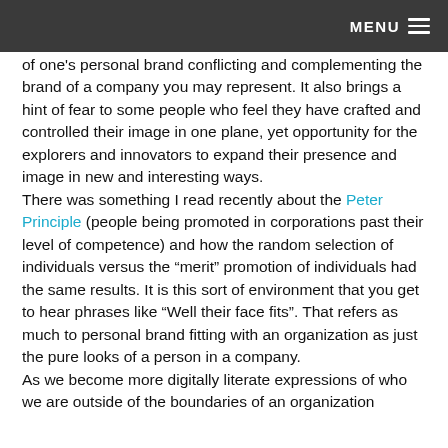MENU
of one's personal brand conflicting and complementing the brand of a company you may represent. It also brings a hint of fear to some people who feel they have crafted and controlled their image in one plane, yet opportunity for the explorers and innovators to expand their presence and image in new and interesting ways.
There was something I read recently about the Peter Principle (people being promoted in corporations past their level of competence) and how the random selection of individuals versus the “merit” promotion of individuals had the same results. It is this sort of environment that you get to hear phrases like “Well their face fits”. That refers as much to personal brand fitting with an organization as just the pure looks of a person in a company.
As we become more digitally literate expressions of who we are outside of the boundaries of an organization